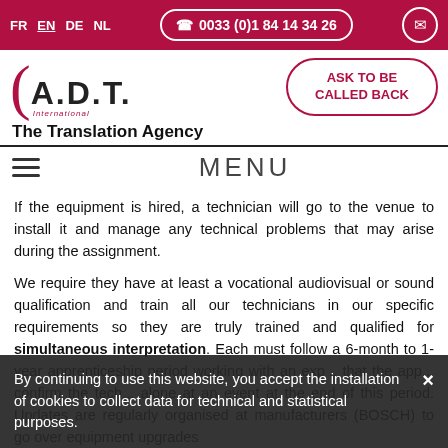FR EN DE NL | 0033 (0)1 84 14 34 26 | [mail icon]
[Figure (logo): A.D.T. International logo with curved bracket and text 'The Translation Agency']
[Figure (other): ASK TO BE CALLED BACK button with rounded border in crimson]
The Translation Agency
MENU
If the equipment is hired, a technician will go to the venue to install it and manage any technical problems that may arise during the assignment.
We require they have at least a vocational audiovisual or sound qualification and train all our technicians in our specific requirements so they are truly trained and qualified for simultaneous interpretation. Each must follow a 6-month to 1-year apprenticeship period working with an exp... that the app... confirm the tech... alone at an event at the end of this period. Updates are regularly organised at manufacturers (BOSCH) to go over equipment upgrades
By continuing to use this website, you accept the installation of cookies to collect data for technical and statistical purposes.